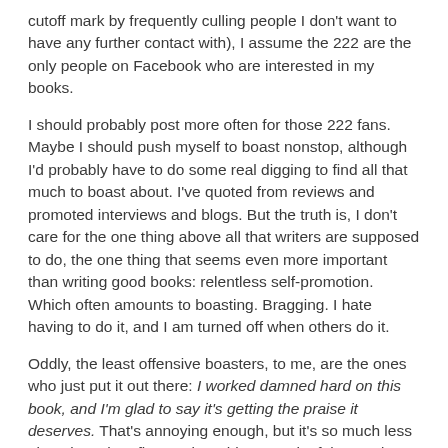cutoff mark by frequently culling people I don't want to have any further contact with), I assume the 222 are the only people on Facebook who are interested in my books.
I should probably post more often for those 222 fans. Maybe I should push myself to boast nonstop, although I'd probably have to do some real digging to find all that much to boast about. I've quoted from reviews and promoted interviews and blogs. But the truth is, I don't care for the one thing above all that writers are supposed to do, the one thing that seems even more important than writing good books: relentless self-promotion. Which often amounts to boasting. Bragging. I hate having to do it, and I am turned off when others do it.
Oddly, the least offensive boasters, to me, are the ones who just put it out there: I worked damned hard on this book, and I'm glad to say it's getting the praise it deserves. That's annoying enough, but it's so much less obnoxious than fluttery, breathless, gushy false modesty. I try to observe the latter and regard it as material for characterization in my books. And I try to stop listening/reading before I'm tempted to say something I'll regret or do something, like brandishing